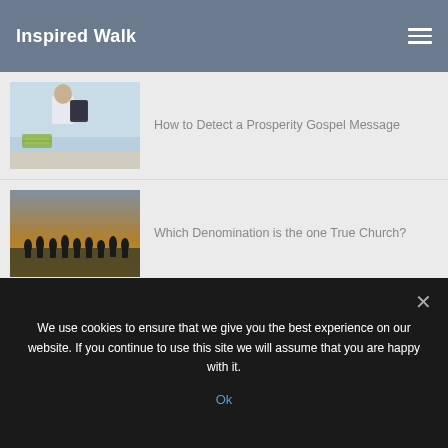Inspired Walk
[Figure (photo): Person from behind holding a tablet, with money visible, blue sky background]
How to Detect a Prosperity Gospel Message
[Figure (photo): Silhouettes of a group of people against a warm sunset sky]
Which Denomination is the one True Church?
[Figure (photo): Person holding their head in their hands, appearing distressed, dark blue background]
Is it Wrong to be Angry with God?
We use cookies to ensure that we give you the best experience on our website. If you continue to use this site we will assume that you are happy with it.
Ok